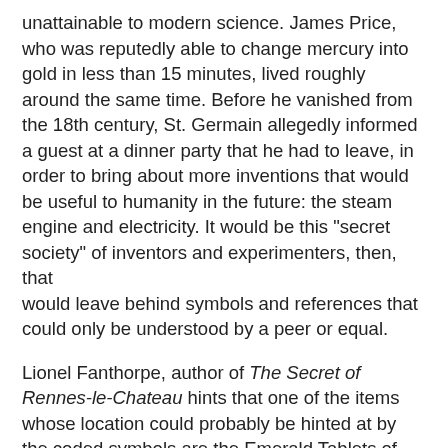unattainable to modern science. James Price, who was reputedly able to change mercury into gold in less than 15 minutes, lived roughly around the same time. Before he vanished from the 18th century, St. Germain allegedly informed a guest at a dinner party that he had to leave, in order to bring about more inventions that would be useful to humanity in the future: the steam engine and electricity. It would be this "secret society" of inventors and experimenters, then, that would leave behind symbols and references that could only be understood by a peer or equal.
Lionel Fanthorpe, author of The Secret of Rennes-le-Chateau hints that one of the items whose location could probably be hinted at by the coded symbols are the Emerald Tablets of Hermes Trismegistus, the Egyptian deity Thoth, patron of magic. Possession of said tablets could have aided the medieval alchemists in attaining their goals. History reminds us, however, that the alchemists were merely proto-scientists, and that their life-extending elixir and the Philosophers' Stone were merely the stuff of dreams. Yet, could some alchemists have stumbled upon the secrets, and